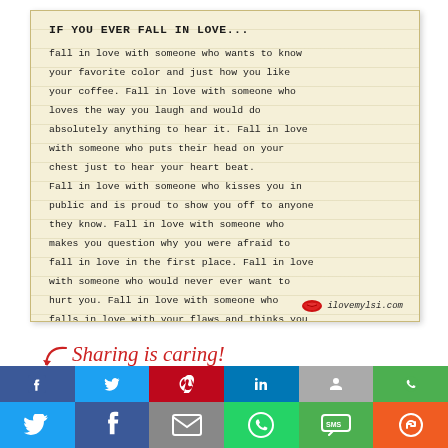[Figure (illustration): A vintage notepad/lined-paper style image with typewriter font text. Title: IF YOU EVER FALL IN LOVE... Body text is a romantic quote about falling in love. Footer shows a red lips icon and ilovemylsi.com]
Sharing is caring!
[Figure (infographic): Social share buttons row: Facebook, Twitter, Pinterest, LinkedIn, grey, WhatsApp]
[Figure (infographic): Bottom social media bar with icons: Twitter (blue), Facebook (dark blue), Email (grey), WhatsApp (green), SMS (green), More (orange)]